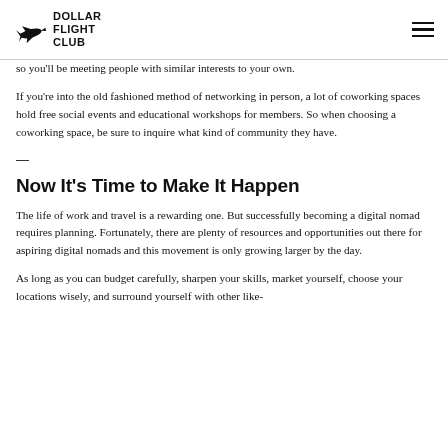Dollar Flight Club
so you'll be meeting people with similar interests to your own.
If you're into the old fashioned method of networking in person, a lot of coworking spaces hold free social events and educational workshops for members. So when choosing a coworking space, be sure to inquire what kind of community they have.
Now It's Time to Make It Happen
The life of work and travel is a rewarding one. But successfully becoming a digital nomad requires planning. Fortunately, there are plenty of resources and opportunities out there for aspiring digital nomads and this movement is only growing larger by the day.
As long as you can budget carefully, sharpen your skills, market yourself, choose your locations wisely, and surround yourself with other like-